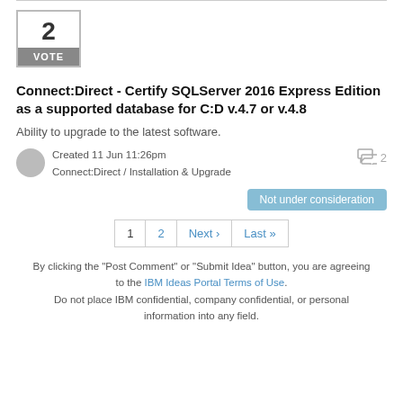[Figure (other): Vote box showing number 2 with a grey VOTE label below]
Connect:Direct - Certify SQLServer 2016 Express Edition as a supported database for C:D v.4.7 or v.4.8
Ability to upgrade to the latest software.
Created 11 Jun 11:26pm
Connect:Direct / Installation & Upgrade
Not under consideration
1  2  Next ›  Last »
By clicking the "Post Comment" or "Submit Idea" button, you are agreeing to the IBM Ideas Portal Terms of Use. Do not place IBM confidential, company confidential, or personal information into any field.